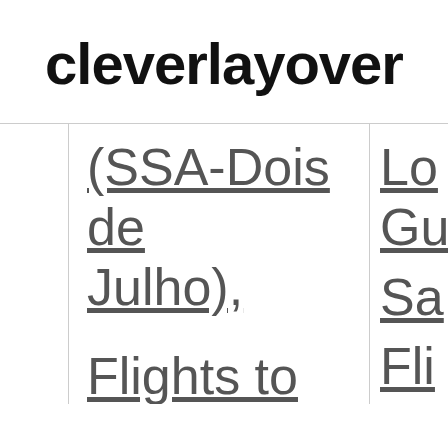cleverlayover
(SSA-Dois de Julho),
Flights to Sharm El Sheikh, Egypt